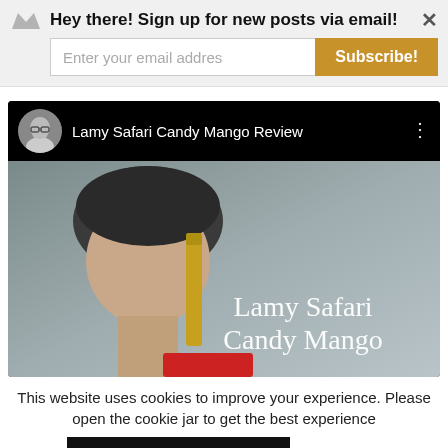Hey there! Sign up for new posts via email!
[Figure (screenshot): YouTube video embed showing 'Lamy Safari Candy Mango Review' with a thumbnail of a man holding a gold pen with text 'Lamy Safari Candy Mango' overlaid]
This website uses cookies to improve your experience. Please open the cookie jar to get the best experience
Open jar (provide your own milk)  Read More